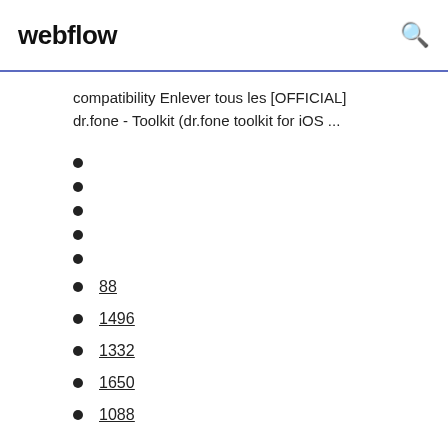webflow
compatibility Enlever tous les [OFFICIAL]
dr.fone - Toolkit (dr.fone toolkit for iOS ...
88
1496
1332
1650
1088